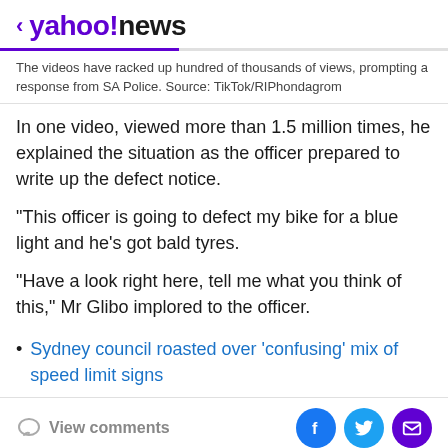< yahoo!news
The videos have racked up hundred of thousands of views, prompting a response from SA Police. Source: TikTok/RIPhondagrom
In one video, viewed more than 1.5 million times, he explained the situation as the officer prepared to write up the defect notice.
"This officer is going to defect my bike for a blue light and he's got bald tyres.
"Have a look right here, tell me what you think of this," Mr Glibo implored to the officer.
Sydney council roasted over 'confusing' mix of speed limit signs
View comments